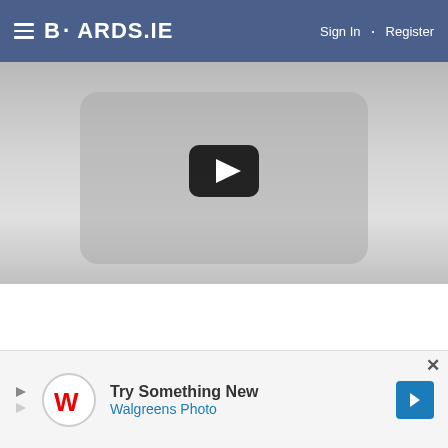BOARDS.IE  Sign In · Register
[Figure (screenshot): Gray video thumbnail with a YouTube-style black play button in the center]
[Figure (screenshot): Dark video thumbnail with a BBC branded golden bar at the bottom and a silhouette of a person]
[Figure (screenshot): Advertisement banner: Walgreens Photo 'Try Something New' with blue arrow button and close X]